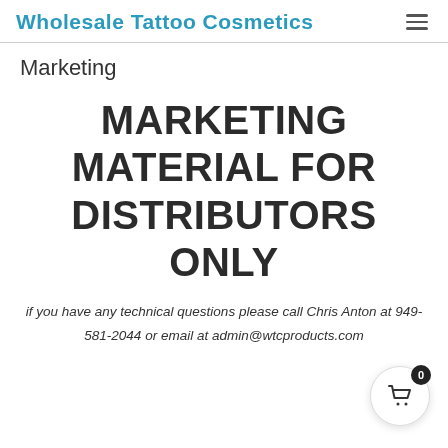Wholesale Tattoo Cosmetics
Marketing
MARKETING MATERIAL FOR DISTRIBUTORS ONLY
if you have any technical questions please call Chris Anton at 949-581-2044 or email at admin@wtcproducts.com